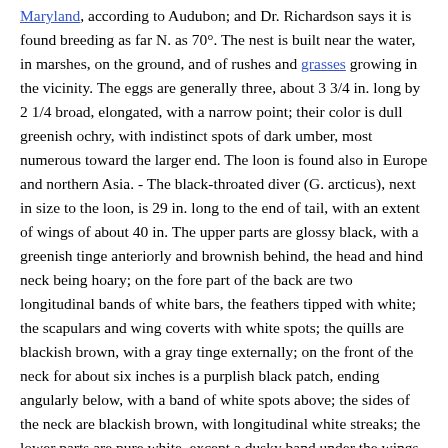Maryland, according to Audubon; and Dr. Richardson says it is found breeding as far N. as 70°. The nest is built near the water, in marshes, on the ground, and of rushes and grasses growing in the vicinity. The eggs are generally three, about 3 3/4 in. long by 2 1/4 broad, elongated, with a narrow point; their color is dull greenish ochry, with indistinct spots of dark umber, most numerous toward the larger end. The loon is found also in Europe and northern Asia. - The black-throated diver (G. arcticus), next in size to the loon, is 29 in. long to the end of tail, with an extent of wings of about 40 in. The upper parts are glossy black, with a greenish tinge anteriorly and brownish behind, the head and hind neck being hoary; on the fore part of the back are two longitudinal bands of white bars, the feathers tipped with white; the scapulars and wing coverts with white spots; the quills are blackish brown, with a gray tinge externally; on the front of the neck for about six inches is a purplish black patch, ending angularly below, with a band of white spots above; the sides of the neck are blackish brown, with longitudinal white streaks; the lower parts are pure white, except a dusky band under the wings.